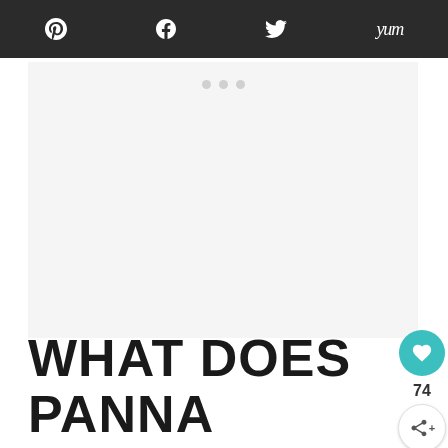Pinterest  Facebook  Twitter  Yum
[Figure (other): Advertisement placeholder area with three small gray dots]
WHAT DOES PANNA COTTA TASTE LIKE?
Panna cotta is a classic dessert...